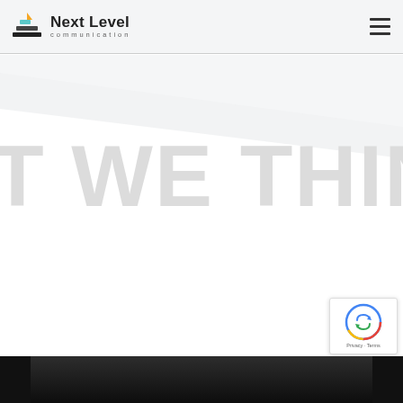[Figure (logo): Next Level Communication logo with stacked bar/pyramid icon and text]
[Figure (illustration): Hamburger menu icon (three horizontal lines) in top right corner]
[Figure (illustration): Diagonal white/light grey geometric shape below header]
T WE THIN
[Figure (illustration): reCAPTCHA badge with spinning arrow icon and Privacy - Terms text]
[Figure (photo): Dark photograph strip at the bottom of the page]